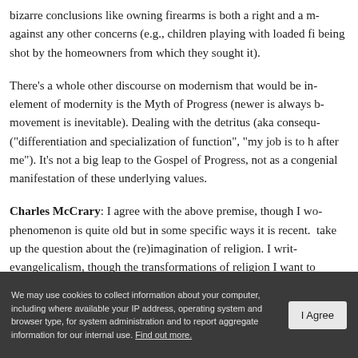bizarre conclusions like owning firearms is both a right and a m... against any other concerns (e.g., children playing with loaded fi... being shot by the homeowners from which they sought it).
There's a whole other discourse on modernism that would be in... element of modernity is the Myth of Progress (newer is always b... movement is inevitable). Dealing with the detritus (aka consequ... ("differentiation and specialization of function", "my job is to h... after me"). It's not a big leap to the Gospel of Progress, not as a... congenial manifestation of these underlying values.
Charles McCrary: I agree with the above premise, though I wo... phenomenon is quite old but in some specific ways it is recent. T... take up the question about the (re)imagination of religion. I writ... evangelicalism, though the transformations of religion I want to...
We may use cookies to collect information about your computer, including where available your IP address, operating system and browser type, for system administration and to report aggregate information for our internal use. Find out more.